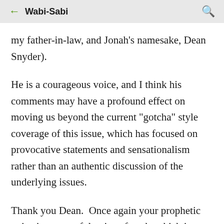← Wabi-Sabi 🔍
my father-in-law, and Jonah's namesake, Dean Snyder).
He is a courageous voice, and I think his comments may have a profound effect on moving us beyond the current "gotcha" style coverage of this issue, which has focused on provocative statements and sensationalism rather than an authentic discussion of the underlying issues.
Thank you Dean.  Once again your prophetic voice is a powerful voice of truth, which is so